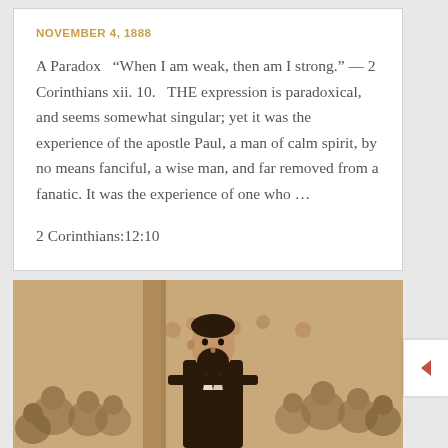NOVEMBER 4, 1888
A Paradox “When I am weak, then am I strong.” — 2 Corinthians xii. 10.   THE expression is paradoxical, and seems somewhat singular; yet it was the experience of the apostle Paul, a man of calm spirit, by no means fanciful, a wise man, and far removed from a fanatic. It was the experience of one who …
2 Corinthians:12:10
[Figure (illustration): A sepia-toned engraving of a bearded man in a dark suit standing before a large crowd of people gathered in what appears to be an indoor venue with columns in the background.]